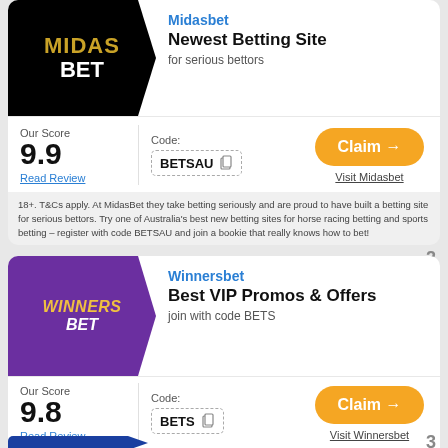[Figure (logo): Midasbet logo - black pentagon shape with MIDAS BET text in gold and white]
Midasbet
Newest Betting Site
for serious bettors
Our Score
9.9
Read Review
Code:
BETSAU
Claim →
Visit Midasbet
18+. T&Cs apply. At MidasBet they take betting seriously and are proud to have built a betting site for serious bettors. Try one of Australia's best new betting sites for horse racing betting and sports betting - register with code BETSAU and join a bookie that really knows how to bet!
[Figure (logo): Winnersbet logo - purple pentagon shape with WINNERS BET text in gold italic]
Winnersbet
Best VIP Promos & Offers
join with code BETS
Our Score
9.8
Read Review
Code:
BETS
Claim →
Visit Winnersbet
Join WinnersBet using the exclusive referral code BETS. The new Australian online bookmaker is creating a big impression. Log in to see possible offers. 18+ only. T&Cs apply.
[Figure (logo): Blue logo area - partial, card 3 beginning]